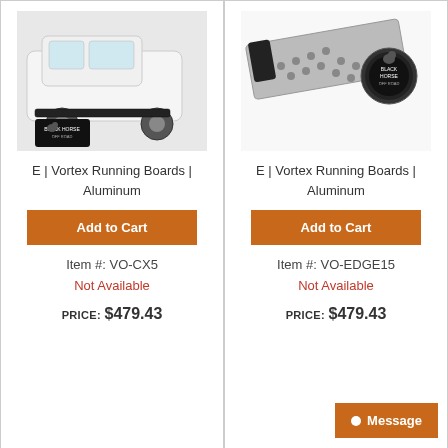[Figure (photo): Photo of running boards installed on white SUV with Black Horse Off Road logo]
E | Vortex Running Boards | Aluminum
Add to Cart
Item #: VO-CX5
Not Available
PRICE: $479.43
[Figure (photo): Photo of aluminum running board (Vortex) with Black Horse Off Road logo]
E | Vortex Running Boards | Aluminum
Add to Cart
Item #: VO-EDGE15
Not Available
PRICE: $479.43